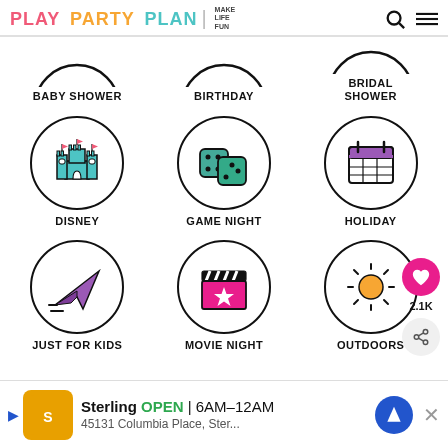PLAY PARTY PLAN | MAKE LIFE FUN
[Figure (illustration): Navigation category icons grid: Baby Shower (partial circle top), Birthday (partial circle top), Bridal Shower (partial circle top), Disney (castle icon in circle), Game Night (dice icon in circle), Holiday (calendar icon in circle), Just For Kids (paper airplane in circle), Movie Night (clapperboard in circle), Outdoors (sun icon in circle)]
BABY SHOWER
BIRTHDAY
BRIDAL SHOWER
DISNEY
GAME NIGHT
HOLIDAY
JUST FOR KIDS
MOVIE NIGHT
OUTDOORS
2.1K
Sterling OPEN 6AM–12AM 45131 Columbia Place, Ster...